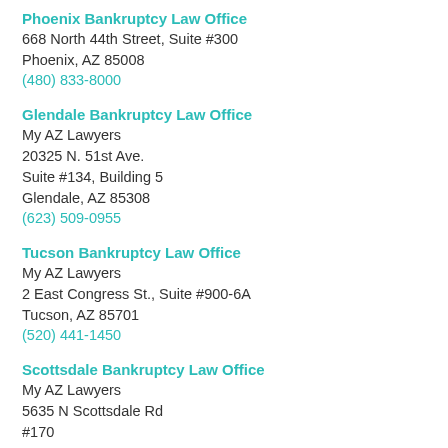Phoenix Bankruptcy Law Office
668 North 44th Street, Suite #300
Phoenix, AZ 85008
(480) 833-8000
Glendale Bankruptcy Law Office
My AZ Lawyers
20325 N. 51st Ave.
Suite #134, Building 5
Glendale, AZ 85308
(623) 509-0955
Tucson Bankruptcy Law Office
My AZ Lawyers
2 East Congress St., Suite #900-6A
Tucson, AZ 85701
(520) 441-1450
Scottsdale Bankruptcy Law Office
My AZ Lawyers
5635 N Scottsdale Rd
#170